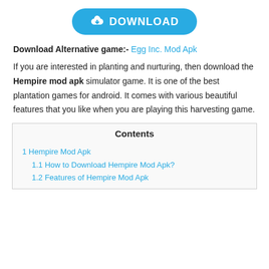[Figure (other): Blue download button with cloud/arrow icon and text DOWNLOAD]
Download Alternative game:- Egg Inc. Mod Apk
If you are interested in planting and nurturing, then download the Hempire mod apk simulator game. It is one of the best plantation games for android. It comes with various beautiful features that you like when you are playing this harvesting game.
Contents
1 Hempire Mod Apk
1.1 How to Download Hempire Mod Apk?
1.2 Features of Hempire Mod Apk